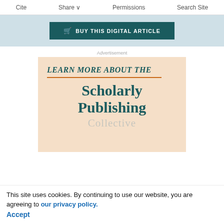Cite  Share  Permissions  Search Site
[Figure (screenshot): Buy This Digital Article button on a light blue background]
Advertisement
[Figure (infographic): Advertisement for Scholarly Publishing Collective on peach/salmon background with italic teal text 'LEARN MORE ABOUT THE' and large teal serif text 'Scholarly Publishing' and faint 'Collective' watermark]
This site uses cookies. By continuing to use our website, you are agreeing to our privacy policy.
Accept